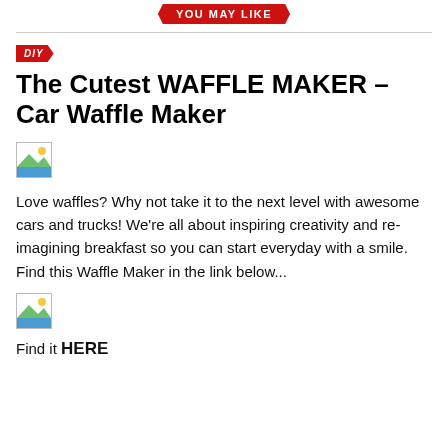YOU MAY LIKE
DIY
The Cutest WAFFLE MAKER – Car Waffle Maker
[Figure (photo): Broken/missing image placeholder icon]
Love waffles? Why not take it to the next level with awesome cars and trucks! We're all about inspiring creativity and re-imagining breakfast so you can start everyday with a smile. Find this Waffle Maker in the link below...
[Figure (photo): Broken/missing image placeholder icon]
Find it HERE